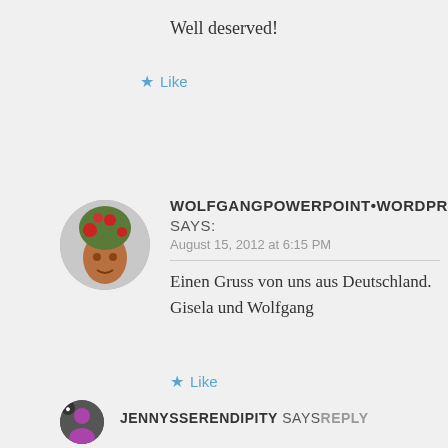Well deserved!
★ Like
WOLFGANGPOWERPOINT•WORDPR says:
August 15, 2012 at 6:15 PM
Einen Gruss von uns aus Deutschland.
Gisela und Wolfgang
★ Like
JENNYSSERENDIPITY says Reply